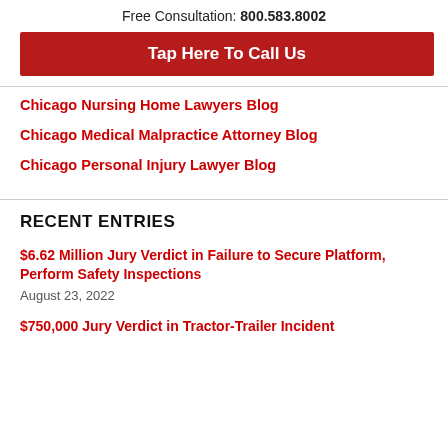Free Consultation: 800.583.8002
Tap Here To Call Us
Chicago Nursing Home Lawyers Blog
Chicago Medical Malpractice Attorney Blog
Chicago Personal Injury Lawyer Blog
RECENT ENTRIES
$6.62 Million Jury Verdict in Failure to Secure Platform, Perform Safety Inspections
August 23, 2022
$750,000 Jury Verdict in Tractor-Trailer Incident